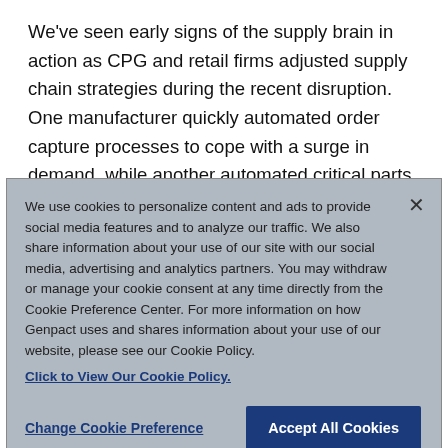We've seen early signs of the supply brain in action as CPG and retail firms adjusted supply chain strategies during the recent disruption. One manufacturer quickly automated order capture processes to cope with a surge in demand, while another automated critical parts monitoring to ensure continuity of supply to its customers.
We use cookies to personalize content and ads to provide social media features and to analyze our traffic. We also share information about your use of our site with our social media, advertising and analytics partners. You may withdraw or manage your cookie consent at any time directly from the Cookie Preference Center. For more information on how Genpact uses and shares information about your use of our website, please see our Cookie Policy. Click to View Our Cookie Policy.
Change Cookie Preference
Accept All Cookies